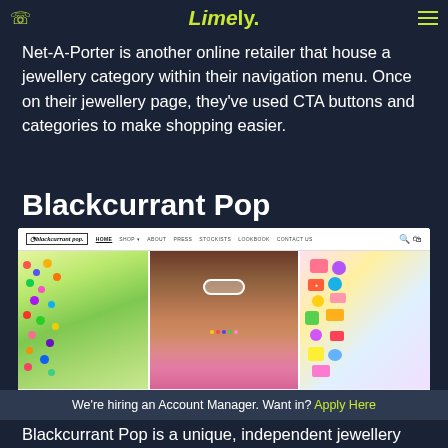Limely. (logo)
Net-A-Porter is another online retailer that house a jewellery category within their navigation menu. Once on their jewellery page, they've used CTA buttons and categories to make shopping easier.
Blackcurrant Pop
[Figure (screenshot): Screenshot of the Blackcurrant Pop website homepage showing navigation bar with logo and menu links (HOME, SHOP, ABOUT, PRESS, STOCKISTS, LOOKBOOK, CONTACT US), and a hero section with three images: colorful beaded jewelry on the left, a Black woman wearing pink sunglasses and colorful jewelry in the center, and colorful charm keychains on the right. Below the hero is a white section with a partial product image.]
We're hiring an Account Manager. Want in? Apply Here
Blackcurrant Pop is a unique, independent jewellery